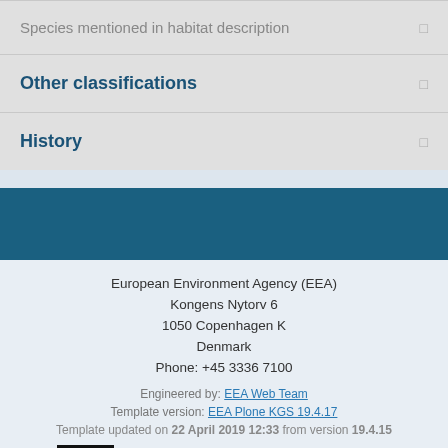Species mentioned in habitat description
Other classifications
History
European Environment Agency (EEA)
Kongens Nytorv 6
1050 Copenhagen K
Denmark
Phone: +45 3336 7100
Engineered by: EEA Web Team
Template version: EEA Plone KGS 19.4.17
Template updated on 22 April 2019 12:33 from version 19.4.15
EUNIS login | Site usage | Code for developers
The European Environment Agency (EEA) is an agency of the European